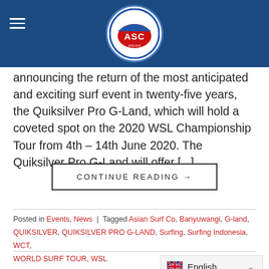ASC Asian Surf Co
8 November 2019: Quiksilver and the World Surf League today make surfing history, announcing the return of the most anticipated and exciting surf event in twenty-five years, the Quiksilver Pro G-Land, which will hold a coveted spot on the 2020 WSL Championship Tour from 4th – 14th June 2020. The Quiksilver Pro G-Land will offer [...]
CONTINUE READING →
Posted in Events, News | Tagged Asian Surf Co, Banyuwangi, G-land, QUIKSILVER, QUIKSILVER PRO G-LAND, Surfing, Surfing Indonesia, WCT, WORLD SURF TOUR, WSL
NEWS
Keramas Comes to Life for Opening Day of Corona Bali Protected
POSTED ON MAY 13, 2
[Figure (logo): ASC Asian Surf Co circular logo with blue wave design on red background]